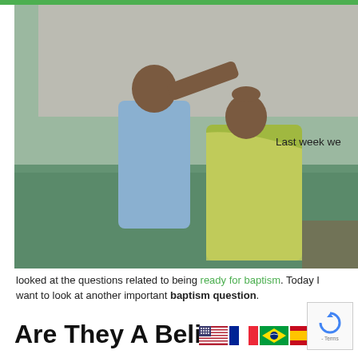[Figure (photo): A man performing a water baptism on a woman in an outdoor water tank/pool. The man is standing behind the woman and placing his hand on her head. The woman is wearing a green/yellow saree. Both are in the water. The background shows a concrete wall.]
Last week we
looked at the questions related to being ready for baptism. Today I want to look at another important baptism question.
Are They A Believer
[Figure (illustration): Row of country flags: USA, France, Brazil, Spain]